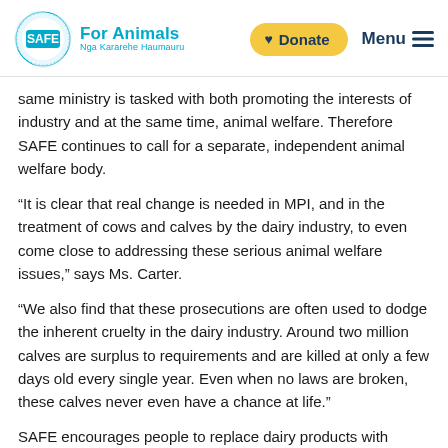SAFE For Animals Nga Kararehe Haumauru | Donate | Menu
same ministry is tasked with both promoting the interests of industry and at the same time, animal welfare. Therefore SAFE continues to call for a separate, independent animal welfare body.
“It is clear that real change is needed in MPI, and in the treatment of cows and calves by the dairy industry, to even come close to addressing these serious animal welfare issues,” says Ms. Carter.
“We also find that these prosecutions are often used to dodge the inherent cruelty in the dairy industry. Around two million calves are surplus to requirements and are killed at only a few days old every single year. Even when no laws are broken, these calves never even have a chance at life.”
SAFE encourages people to replace dairy products with